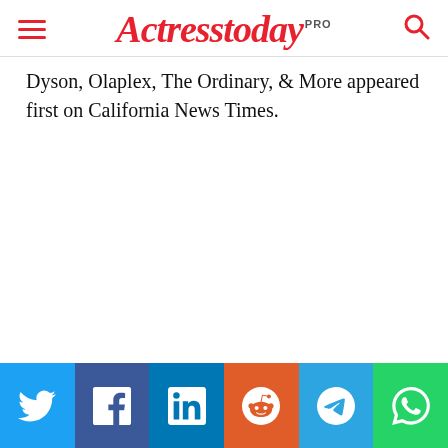Actresstoday PRO
Dyson, Olaplex, The Ordinary, & More appeared first on California News Times.
Social share buttons: Twitter, Facebook, LinkedIn, Reddit, Telegram, WhatsApp